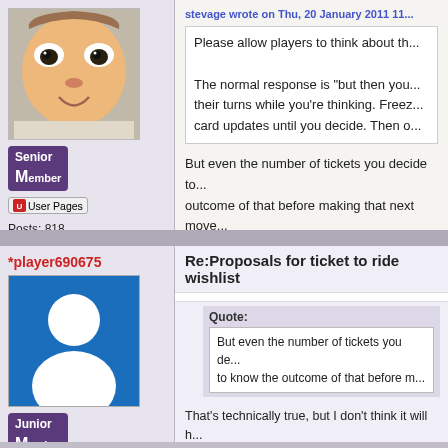stevage wrote on Thu, 20 January 2011
Please allow players to think about th...
The normal response is "but then you... their turns while you're thinking. Freez... card updates until you decide. Then o...
[Figure (photo): Profile photo of a man making a funny face]
Senior Member
User Pages
Posts: 818
Registered:
May 2006
But even the number of tickets you decide to... outcome of that before making that next move
*player690675
Re:Proposals for ticket to ride wishlist
[Figure (illustration): Default user avatar silhouette on blue background]
Junior Member
Posts: 3
Registered:
January 2011
Quote:
But even the number of tickets you de... to know the outcome of that before m...
That's technically true, but I don't think it will h... the effect is completely equal on all players. T... game if I saw someone had retained 3 tickets...
Lastly, in any case I think it should be the pre... play". I think in most cases, people will favour